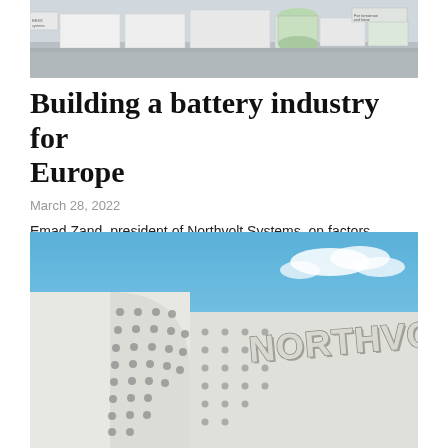[Figure (photo): Exterior photo of an industrial facility with white storage units/containers and signage in the background]
Building a battery industry for Europe
March 28, 2022
Emad Zand, president of Northvolt Systems, on factors impacting the growth of a European battery storage industry.
[Figure (photo): Close-up exterior photo of a Northvolt building facade with perforated white curved wall panels and the Northvolt logo in metallic letters against a blue sky]